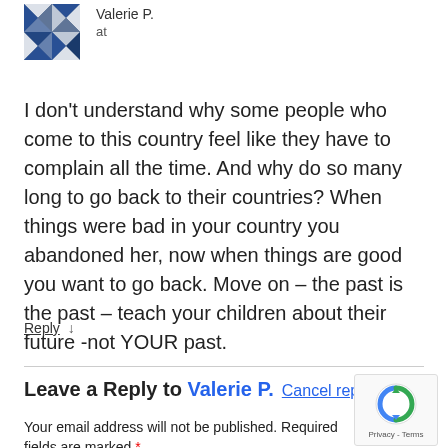Valerie P.
at
[Figure (illustration): Avatar image with geometric quilt-like pattern in navy blue and white]
I don't understand why some people who come to this country feel like they have to complain all the time. And why do so many long to go back to their countries? When things were bad in your country you abandoned her, now when things are good you want to go back. Move on – the past is the past – teach your children about their future -not YOUR past.
Reply ↓
Leave a Reply to Valerie P.   Cancel reply
Your email address will not be published. Required fields are marked *